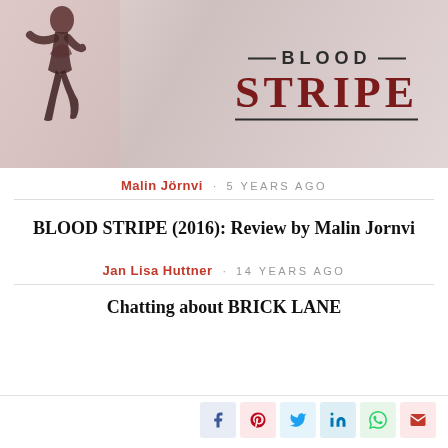[Figure (photo): Book cover for Blood Stripe (2016) showing a running figure silhouette on left and bold title text on right with decorative lines]
Malin Jörnvi · 5 YEARS AGO
BLOOD STRIPE (2016): Review by Malin Jornvi
Jan Lisa Huttner · 14 YEARS AGO
Chatting about BRICK LANE
[Figure (other): Social share buttons row: Facebook, Pinterest, Twitter, LinkedIn, WhatsApp, Email]